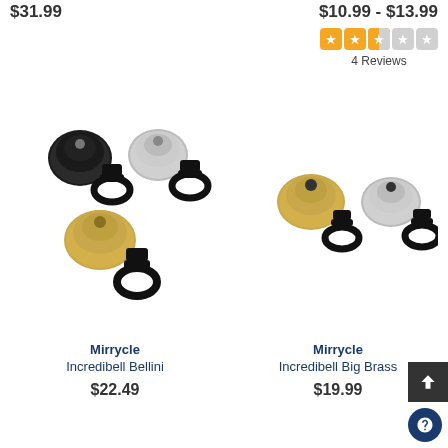$31.99
$10.99 - $13.99
[Figure (other): Star rating widget showing 2.5 out of 5 stars (orange filled squares), with text '4 Reviews' below]
[Figure (photo): Three bicycle bells mounted on handlebars: black, silver, and gold/brass colored, Mirrycle Incredibell Bellini]
[Figure (photo): Two smaller bicycle bells mounted on handlebars: gold/brass and silver colored, Mirrycle Incredibell Big Brass]
Mirrycle
Incredibell Bellini
$22.49
Mirrycle
Incredibell Big Brass
$19.99